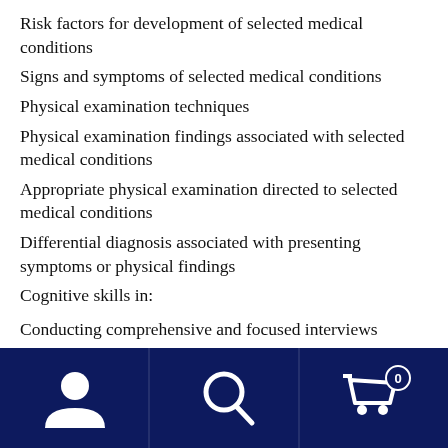Risk factors for development of selected medical conditions
Signs and symptoms of selected medical conditions
Physical examination techniques
Physical examination findings associated with selected medical conditions
Appropriate physical examination directed to selected medical conditions
Differential diagnosis associated with presenting symptoms or physical findings
Cognitive skills in:
Conducting comprehensive and focused interviews
Identifying pertinent historical information
Performing comprehensive and focused physical